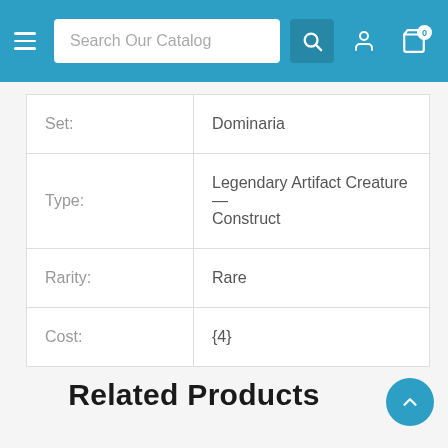Search Our Catalog
| Set: | Dominaria |
| Type: | Legendary Artifact Creature — Construct |
| Rarity: | Rare |
| Cost: | {4} |
Related Products